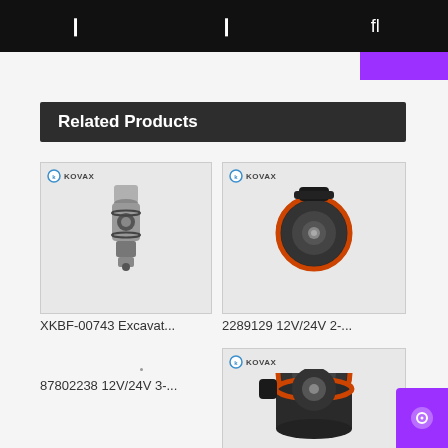Navigation bar with icons
Related Products
[Figure (photo): KOVAX branded hydraulic valve/solenoid component - metal cylindrical part]
XKBF-00743 Excavat...
[Figure (photo): KOVAX branded 12V/24V 2-pin electrical connector/sensor - black with orange ring]
2289129 12V/24V 2-...
87802238 12V/24V 3-...
[Figure (photo): KOVAX branded 12V/24V sensor/connector - black housing with orange ring, partially visible]